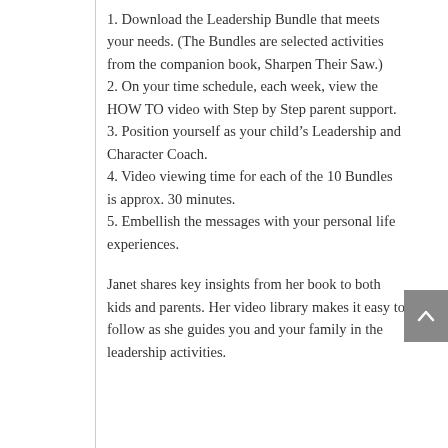1. Download the Leadership Bundle that meets your needs. (The Bundles are selected activities from the companion book, Sharpen Their Saw.)
2. On your time schedule, each week, view the HOW TO video with Step by Step parent support.
3. Position yourself as your child’s Leadership and Character Coach.
4. Video viewing time for each of the 10 Bundles is approx. 30 minutes.
5. Embellish the messages with your personal life experiences.
Janet shares key insights from her book to both kids and parents. Her video library makes it easy to follow as she guides you and your family in the leadership activities.